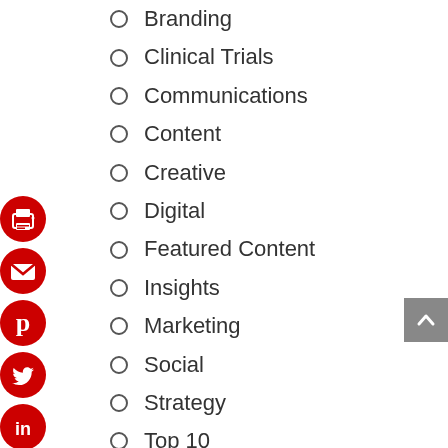Branding
Clinical Trials
Communications
Content
Creative
Digital
Featured Content
Insights
Marketing
Social
Strategy
Top 10
Uncategorized
Video